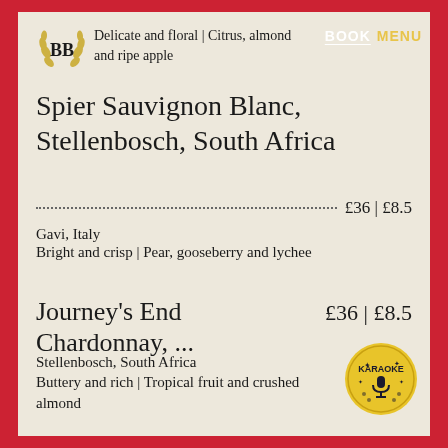Delicate and floral | Citrus, almond and ripe apple
Spier Sauvignon Blanc, Stellenbosch, South Africa
£36 | £8.5
Gavi, Italy
Bright and crisp | Pear, gooseberry and lychee
Journey's End Chardonnay, ...  £36 | £8.5
Stellenbosch, South Africa
Buttery and rich | Tropical fruit and crushed almond